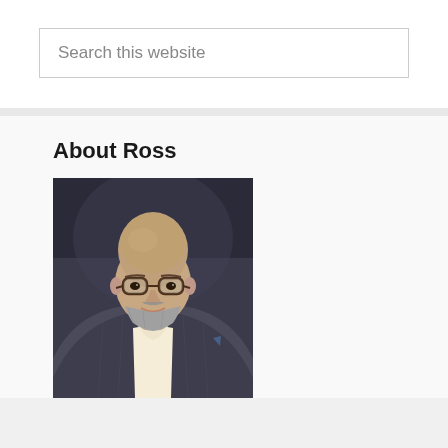Search this website
About Ross
[Figure (photo): Professional headshot of a bald man with glasses and a grey beard, wearing a grey plaid blazer over a light button-up shirt, smiling against a dark background.]